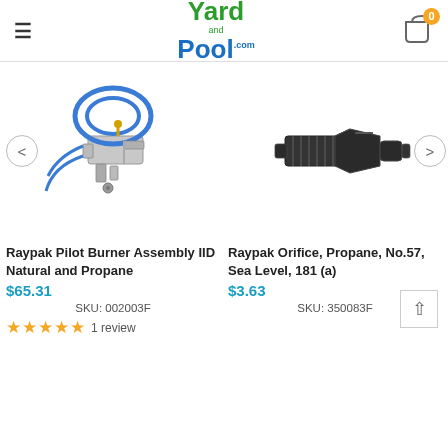Yard and Pool .com
[Figure (photo): Raypak Pilot Burner Assembly IID with blue wires and metal bracket components]
[Figure (photo): Raypak Orifice black threaded fitting, Propane No.57 Sea Level 181(a)]
Raypak Pilot Burner Assembly IID Natural and Propane
$65.31
SKU: 002003F
★★★★★ 1 review
Raypak Orifice, Propane, No.57, Sea Level, 181 (a)
$3.63
SKU: 350083F